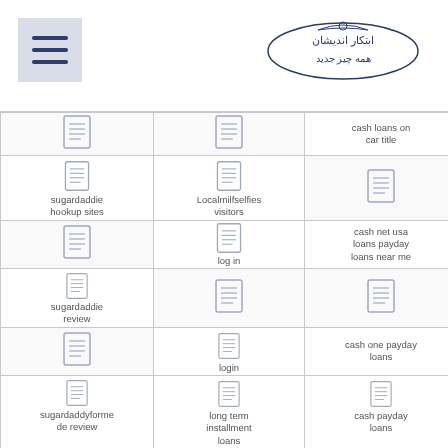Header with hamburger menu and logo
| Column 1 | Column 2 | Column 3 |
| --- | --- | --- |
| [icon] | [icon] | cash loans on car title |
| sugardaddie hookup sites | Localmilfselfies visitors | [icon] |
| [icon] | [icon] | cash net usa loans payday loans near me |
| sugardaddie review | log in | [icon] |
| [icon] | login | cash one payday loans |
| sugardaddyforme de review | [icon] | [icon] |
| [icon] | long term installment loans | cash payday loans |
| [icon] | [icon] | [icon] |